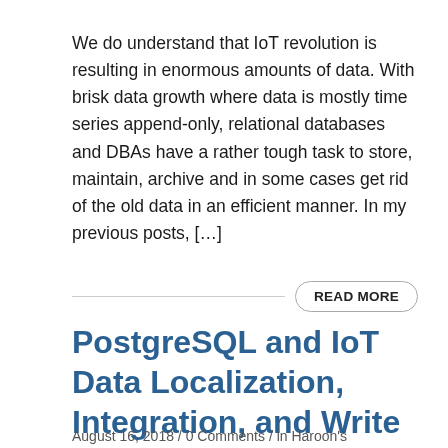We do understand that IoT revolution is resulting in enormous amounts of data. With brisk data growth where data is mostly time series append-only, relational databases and DBAs have a rather tough task to store, maintain, archive and in some cases get rid of the old data in an efficient manner. In my previous posts, […]
READ MORE
PostgreSQL and IoT Data Localization, Integration, and Write Scalability
August 16, 2018 / 0 Comments / in Haroon's PlanetPostgreSQL,